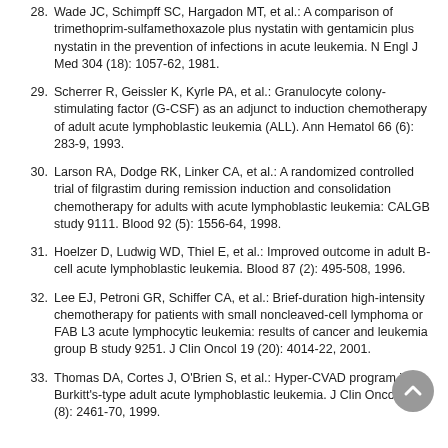28. Wade JC, Schimpff SC, Hargadon MT, et al.: A comparison of trimethoprim-sulfamethoxazole plus nystatin with gentamicin plus nystatin in the prevention of infections in acute leukemia. N Engl J Med 304 (18): 1057-62, 1981.
29. Scherrer R, Geissler K, Kyrle PA, et al.: Granulocyte colony-stimulating factor (G-CSF) as an adjunct to induction chemotherapy of adult acute lymphoblastic leukemia (ALL). Ann Hematol 66 (6): 283-9, 1993.
30. Larson RA, Dodge RK, Linker CA, et al.: A randomized controlled trial of filgrastim during remission induction and consolidation chemotherapy for adults with acute lymphoblastic leukemia: CALGB study 9111. Blood 92 (5): 1556-64, 1998.
31. Hoelzer D, Ludwig WD, Thiel E, et al.: Improved outcome in adult B-cell acute lymphoblastic leukemia. Blood 87 (2): 495-508, 1996.
32. Lee EJ, Petroni GR, Schiffer CA, et al.: Brief-duration high-intensity chemotherapy for patients with small noncleaved-cell lymphoma or FAB L3 acute lymphocytic leukemia: results of cancer and leukemia group B study 9251. J Clin Oncol 19 (20): 4014-22, 2001.
33. Thomas DA, Cortes J, O'Brien S, et al.: Hyper-CVAD program in Burkitt's-type adult acute lymphoblastic leukemia. J Clin Oncol 17 (8): 2461-70, 1999.